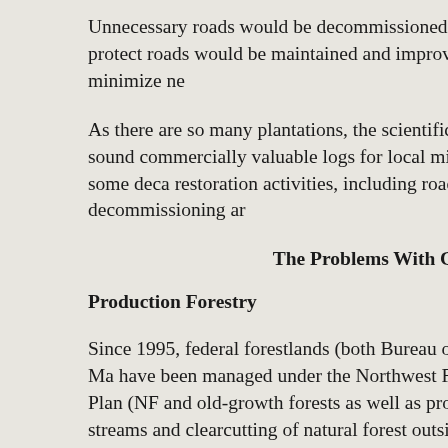Unnecessary roads would be decommissioned to protect roads would be maintained and improved to minimize ne
As there are so many plantations, the scientifically sound commercially valuable logs for local mills for some deca restoration activities, including road decommissioning ar
The Problems With Current
Production Forestry
Since 1995, federal forestlands (both Bureau of Land Ma have been managed under the Northwest Forest Plan (NF and old-growth forests as well as protecting streams and clearcutting of natural forest outside of formally designat
In 2016, the Bureau of Land Management abandoned the its western Oregon holdings. In some ways, the new BLM in reserved areas) and in some ways worse than the NWF 2016 BLM RMPs, large amounts of inappropriate loggin expense of water quality and quantity, wildlife habitat, sc